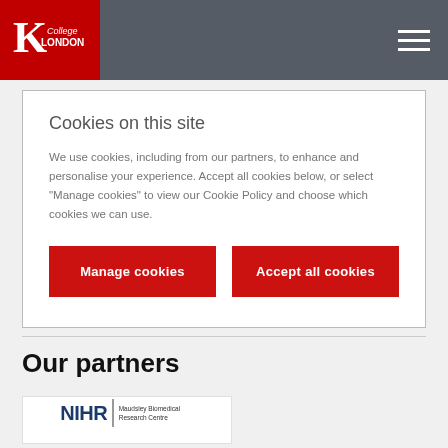King's College London
Cookies on this site
We use cookies, including from our partners, to enhance and personalise your experience. Accept all cookies below, or select “Manage cookies” to view our Cookie Policy and choose which cookies we can use.
Manage cookies
Accept all cookies
Our partners
[Figure (logo): NIHR Maudsley Biomedical Research Centre logo]